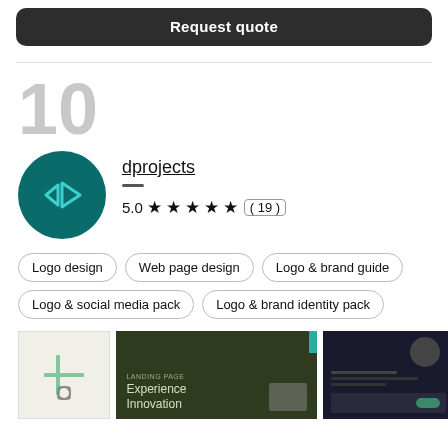Request quote
10
[Figure (logo): dprojects logo: teal circle with angular arrow/cursor icon]
dprojects
5.0 ★★★★★ ( 19 )
Logo design
Web page design
Logo & brand guide
Logo & social media pack
Logo & brand identity pack
[Figure (screenshot): Portfolio thumbnail showing a website with text Experience Innovation]
[Figure (screenshot): Portfolio thumbnail showing a dark dashboard/analytics UI]